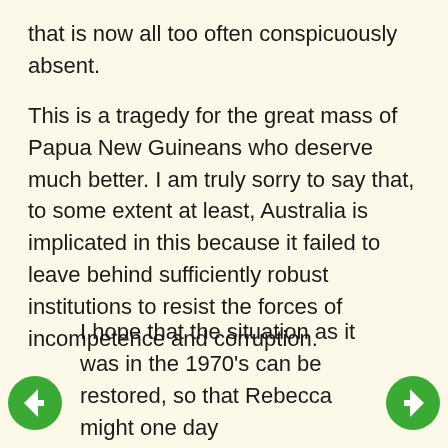that is now all too often conspicuously absent.
This is a tragedy for the great mass of Papua New Guineans who deserve much better. I am truly sorry to say that, to some extent at least, Australia is implicated in this because it failed to leave behind sufficiently robust institutions to resist the forces of incompetence and corruption.
However the current situation came about the future of PNG lies firmly in the hands of its people. Only they can change the situation for the better and I hope that they do so.
I hope that the situation as it was in the 1970's can be restored, so that Rebecca might one day